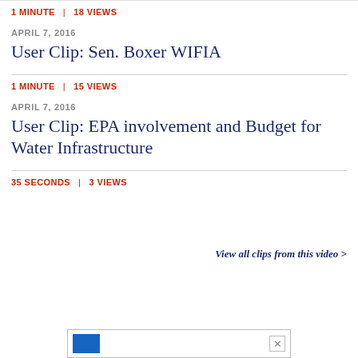1 MINUTE | 18 VIEWS
APRIL 7, 2016
User Clip: Sen. Boxer WIFIA
1 MINUTE | 15 VIEWS
APRIL 7, 2016
User Clip: EPA involvement and Budget for Water Infrastructure
35 SECONDS | 3 VIEWS
View all clips from this video >